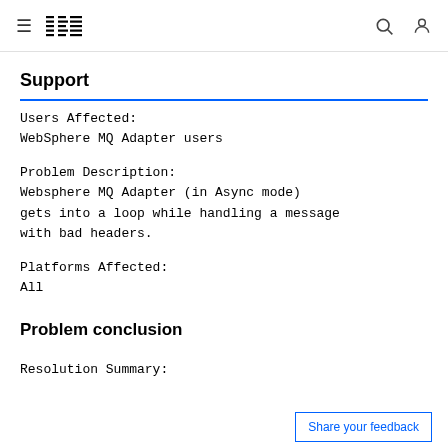IBM Support
Support
Users Affected:
WebSphere MQ Adapter users
Problem Description:
Websphere MQ Adapter (in Async mode) gets into a loop while handling a message with bad headers.
Platforms Affected:
All
Problem conclusion
Resolution Summary: